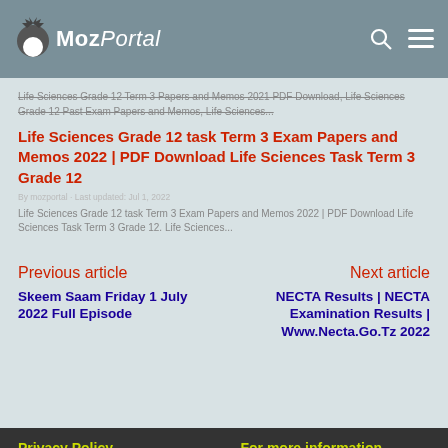MozPortal
Life Sciences Grade 12 Term 3 Papers and Memos 2021 PDF Download, Life Sciences Grade 12 Past Exam Papers and Memos, Life Sciences...
Life Sciences Grade 12 task Term 3 Exam Papers and Memos 2022 | PDF Download Life Sciences Task Term 3 Grade 12
Life Sciences Grade 12 task Term 3 Exam Papers and Memos 2022 | PDF Download Life Sciences Task Term 3 Grade 12. Life Sciences...
Previous article
Skeem Saam Friday 1 July 2022 Full Episode
Next article
NECTA Results | NECTA Examination Results | Www.Necta.Go.Tz 2022
Privacy Policy | For more information | MozPortal is a news and education site...